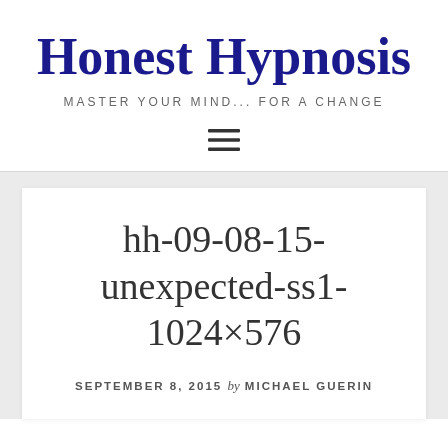Honest Hypnosis
MASTER YOUR MIND... FOR A CHANGE
[Figure (other): Hamburger menu icon (three horizontal lines)]
hh-09-08-15-unexpected-ss1-1024×576
SEPTEMBER 8, 2015 by MICHAEL GUERIN